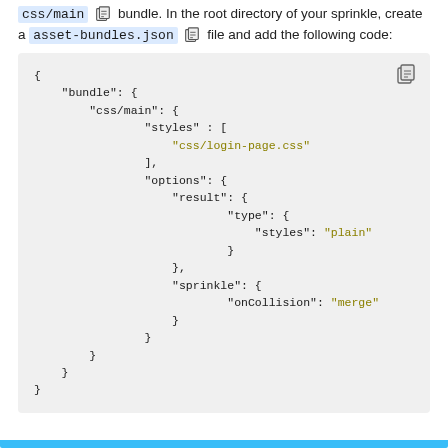css/main bundle. In the root directory of your sprinkle, create a asset-bundles.json file and add the following code:
[Figure (screenshot): A code block on a light gray background showing a JSON configuration for asset-bundles.json with bundle, css/main, styles, options, result, type, sprinkle, and onCollision keys, with string values in olive/yellow color.]